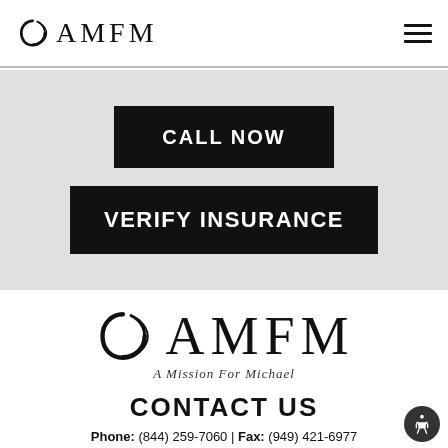AMFM
CALL NOW
VERIFY INSURANCE
[Figure (logo): AMFM logo with crescent icon and tagline 'A Mission For Michael']
CONTACT US
Phone: (844) 259-7060 | Fax: (949) 421-6977